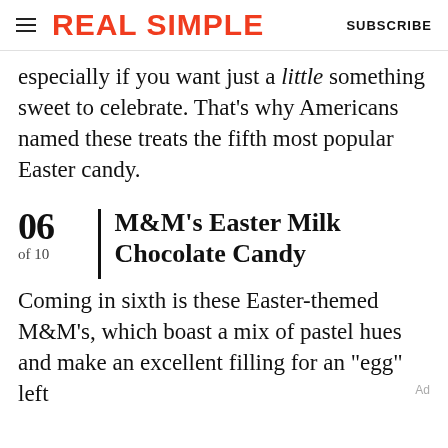REAL SIMPLE   SUBSCRIBE
especially if you want just a little something sweet to celebrate. That's why Americans named these treats the fifth most popular Easter candy.
06 of 10 | M&M's Easter Milk Chocolate Candy
Coming in sixth is these Easter-themed M&M's, which boast a mix of pastel hues and make an excellent filling for an "egg" left